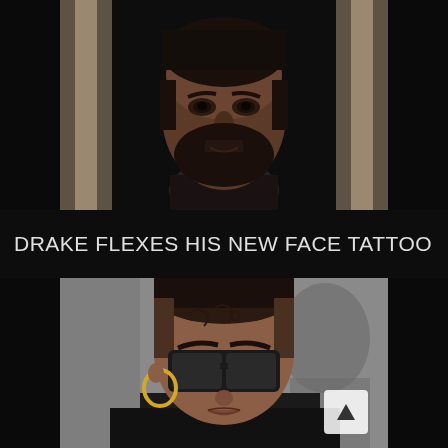[Figure (photo): Close-up photo of a man (Drake) with a beard, wearing a black turtleneck, looking directly at the camera with a serious expression. Background shows a dark doorway with wooden elements on the sides.]
DRAKE FLEXES HIS NEW FACE TATTOO
[Figure (photo): Photo of a woman with face tattoos, wearing large dark square-framed sunglasses and gold hoop earrings, dressed in dark clothing. A blurred person is visible in the background.]